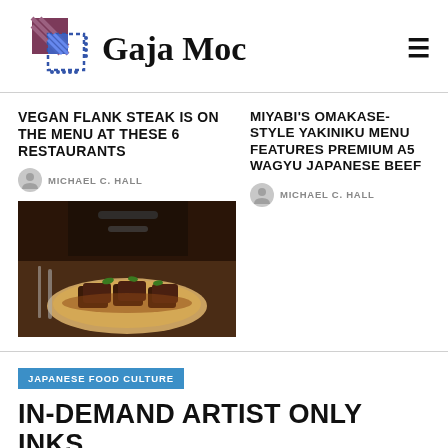Gaja Moc
VEGAN FLANK STEAK IS ON THE MENU AT THESE 6 RESTAURANTS
MICHAEL C. HALL
[Figure (photo): Photo of vegan flank steak dish on a plate with sauce and garnish]
MIYABI'S OMAKASE-STYLE YAKINIKU MENU FEATURES PREMIUM A5 WAGYU JAPANESE BEEF
MICHAEL C. HALL
JAPANESE FOOD CULTURE
IN-DEMAND ARTIST ONLY INKS